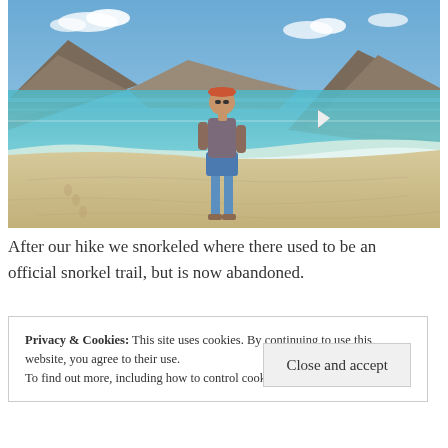[Figure (photo): A man standing on a sandy beach wearing an orange cap, gray t-shirt, and blue shorts with sandals. Behind him is turquoise water, a sailboat, and hills/mountains in the background under a partly cloudy blue sky.]
After our hike we snorkeled where there used to be an official snorkel trail, but is now abandoned.
Privacy & Cookies: This site uses cookies. By continuing to use this website, you agree to their use.
To find out more, including how to control cookies, see here: Cookie Policy